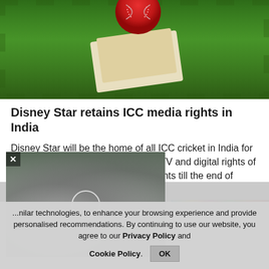[Figure (photo): Cricket ball resting on a cricket bat on green grass]
Disney Star retains ICC media rights in India
Disney Star will be the home of all ICC cricket in India for the next four years having won the TV and digital rights of both men's and women's global events till the end of 2027, the ICC said in a statement.
[Figure (photo): Video thumbnail showing a building demolition with large smoke cloud in an urban area, with a circular play button overlay]
[Figure (photo): Colorful banner or advertisement image partially visible]
...nilar technologies, to enhance your browsing experience and provide personalised recommendations. By continuing to use our website, you agree to our Privacy Policy and Cookie Policy.